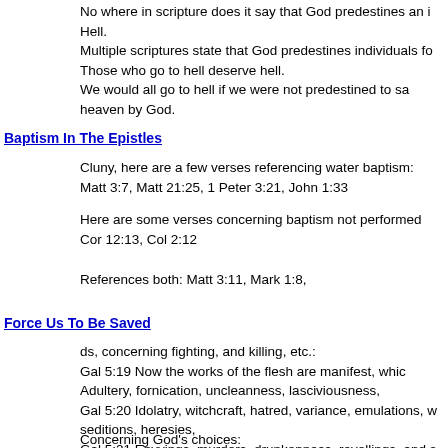No where in scripture does it say that God predestines an individual to Hell.
Multiple scriptures state that God predestines individuals for heaven.
Those who go to hell deserve hell.
We would all go to hell if we were not predestined to salvation in heaven by God.
Baptism In The Epistles
Cluny, here are a few verses referencing water baptism:
Matt 3:7, Matt 21:25, 1 Peter 3:21, John 1:33
Here are some verses concerning baptism not performed by water: 1 Cor 12:13, Col 2:12
References both: Matt 3:11, Mark 1:8,
Force Us To Be Saved
ds, concerning fighting, and killing, etc.:
Gal 5:19 Now the works of the flesh are manifest, which are these; Adultery, fornication, uncleanness, lasciviousness,
Gal 5:20 Idolatry, witchcraft, hatred, variance, emulations, wrath, strife, seditions, heresies,
Gal 5:21 Envyings, murders, drunkenness, revellings, and such like:
This is all due to sin.
Concerning God's choices: